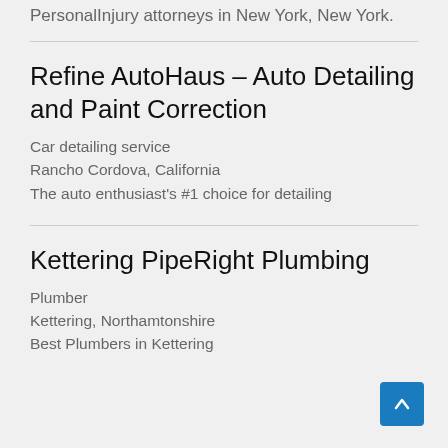PersonalInjury attorneys in New York, New York.
Refine AutoHaus – Auto Detailing and Paint Correction
Car detailing service
Rancho Cordova, California
The auto enthusiast's #1 choice for detailing
Kettering PipeRight Plumbing
Plumber
Kettering, Northamtonshire
Best Plumbers in Kettering